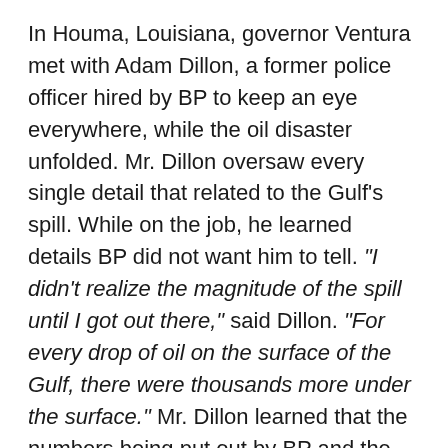In Houma, Louisiana, governor Ventura met with Adam Dillon, a former police officer hired by BP to keep an eye everywhere, while the oil disaster unfolded. Mr. Dillon oversaw every single detail that related to the Gulf's spill. While on the job, he learned details BP did not want him to tell. "I didn't realize the magnitude of the spill until I got out there," said Dillon. "For every drop of oil on the surface of the Gulf, there were thousands more under the surface." Mr. Dillon learned that the numbers being put out by BP and the government simply did not add up. After he took pictures from a plane that showed the real magnitude of the disaster, he was intimidated and then fired. The clean-up was all a lie. "As a former soldier in Iraq and former police officer I know what an interrogation looks like, and that is what I was put through", says Dillon. After stationing themselves in front of BP's headquarters in Houston...